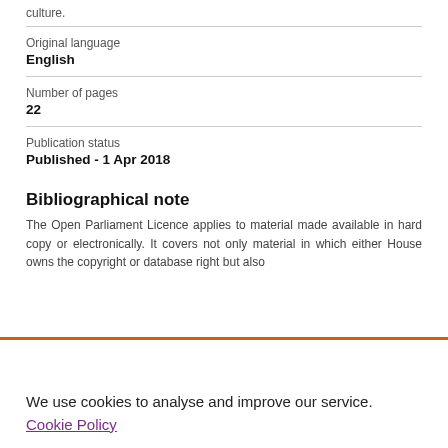culture.
| Original language |  |
| English |  |
| Number of pages |  |
| 22 |  |
| Publication status |  |
| Published - 1 Apr 2018 |  |
Bibliographical note
The Open Parliament Licence applies to material made available in hard copy or electronically. It covers not only material in which either House owns the copyright or database right but also
We use cookies to analyse and improve our service. Cookie Policy